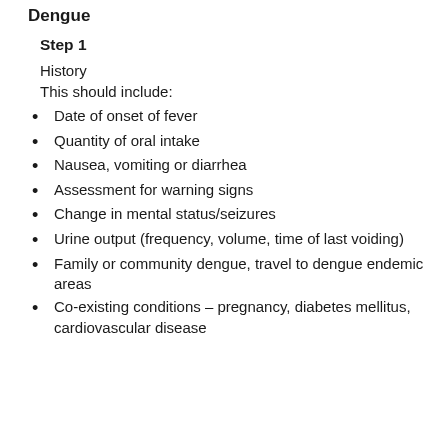Dengue
Step 1
History
This should include:
Date of onset of fever
Quantity of oral intake
Nausea, vomiting or diarrhea
Assessment for warning signs
Change in mental status/seizures
Urine output (frequency, volume, time of last voiding)
Family or community dengue, travel to dengue endemic areas
Co-existing conditions – pregnancy, diabetes mellitus, cardiovascular disease